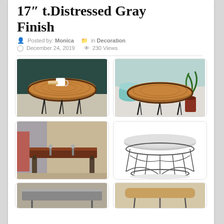17" t.Distressed Gray Finish
Posted by: Monica  in Decoration  December 24, 2019  230 Views
[Figure (photo): Round wood slab coffee table with hairpin legs, white mug on top, dark background]
[Figure (photo): Round wood slab coffee table with hairpin legs, teal pouf and plant in background]
[Figure (photo): Long narrow industrial-style coffee table with wooden top and metal legs in workshop setting]
[Figure (photo): Round modern coffee table with gray top and geometric wire/cage base frame]
[Figure (photo): Partial view of another coffee table design at bottom left]
[Figure (photo): Partial view of another coffee table design at bottom right]